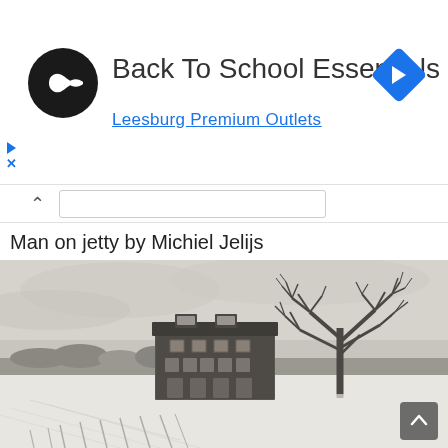[Figure (screenshot): Advertisement banner: circular dark logo with infinity-like symbol, text 'Back To School Essentials', subtitle 'Leesburg Premium Outlets' in blue underlined text, blue diamond navigation icon top right, play/close button on left side]
Man on jetty by Michiel Jelijs
[Figure (photo): Black and white photograph of an abandoned stone building with snow on the roof and snowy field in the foreground, a bare winter tree to the right, overcast sky]